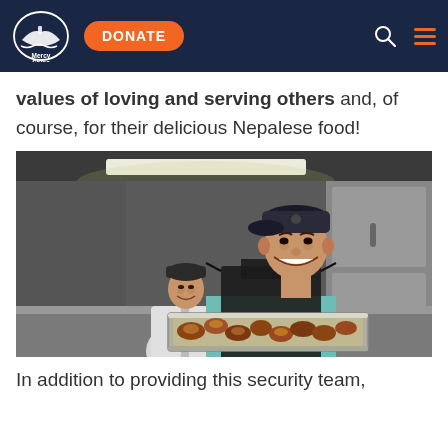Mercy Ships — DONATE — navigation bar
values of loving and serving others and, of course, for their delicious Nepalese food!
[Figure (photo): Two Nepalese cooks in a commercial kitchen smiling at the camera. The foreground cook wears a dark cap and black apron over a teal shirt, holding a large metal tray of fried chicken pieces while wearing white gloves. The background cook also wears a dark cap and white chef's jacket.]
In addition to providing this security team,